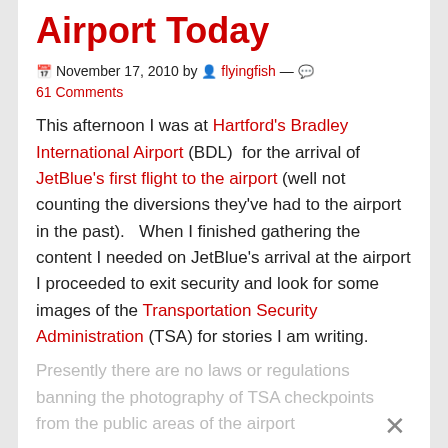Airport Today
📅 November 17, 2010 by 👤 flyingfish — 💬 61 Comments
This afternoon I was at Hartford's Bradley International Airport (BDL) for the arrival of JetBlue's first flight to the airport (well not counting the diversions they've had to the airport in the past). When I finished gathering the content I needed on JetBlue's arrival at the airport I proceeded to exit security and look for some images of the Transportation Security Administration (TSA) for stories I am writing.
Presently there are no laws or regulations banning the photography of TSA checkpoints from the public areas of the airport...